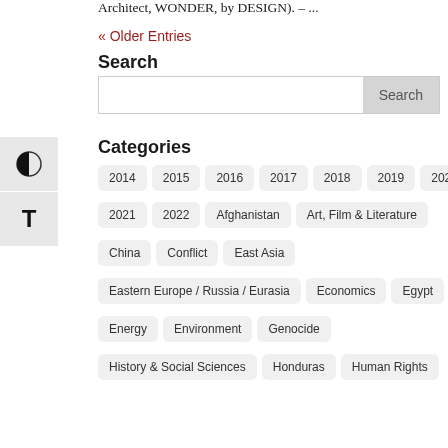Architect, WONDER, by DESIGN). – ...
« Older Entries
Search
Search [search box]
Categories
2014
2015
2016
2017
2018
2019
2020
2021
2022
Afghanistan
Art, Film & Literature
China
Conflict
East Asia
Eastern Europe / Russia / Eurasia
Economics
Egypt
Energy
Environment
Genocide
History & Social Sciences
Honduras
Human Rights